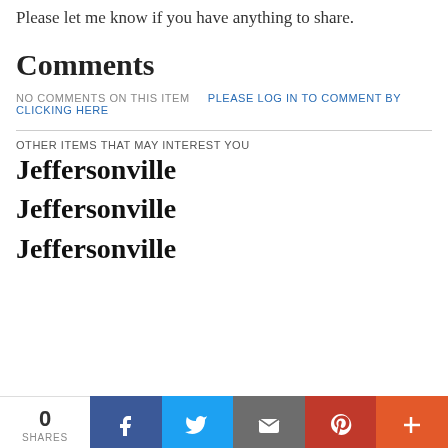Please let me know if you have anything to share.
Comments
NO COMMENTS ON THIS ITEM   PLEASE LOG IN TO COMMENT BY CLICKING HERE
OTHER ITEMS THAT MAY INTEREST YOU
Jeffersonville
Jeffersonville
Jeffersonville
0 SHARES | Facebook | Twitter | Email | Pinterest | More